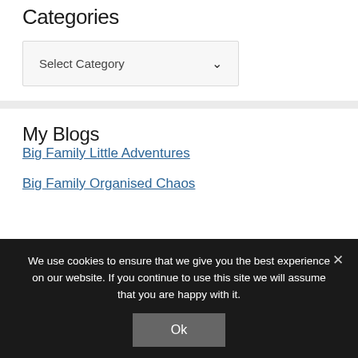Categories
Select Category
My Blogs
Big Family Little Adventures
Big Family Organised Chaos
We use cookies to ensure that we give you the best experience on our website. If you continue to use this site we will assume that you are happy with it.
Ok